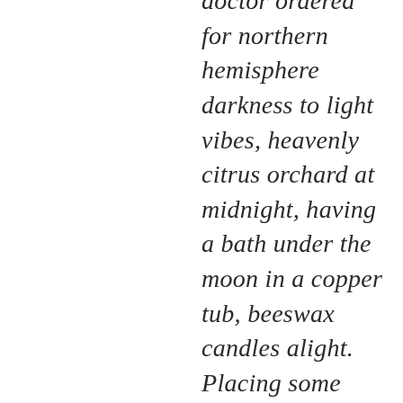doctor ordered for northern hemisphere darkness to light vibes, heavenly citrus orchard at midnight, having a bath under the moon in a copper tub, beeswax candles alight. Placing some salts in a glass of water as an energetic space cleanser has also been key, makes everything glowier,